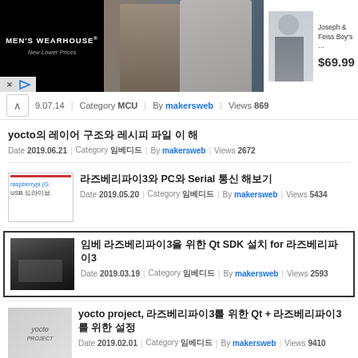[Figure (screenshot): Men's Wearhouse advertisement banner with couple in formalwear and Joseph & Feiss Boy's suit priced at $69.99]
9.07.14 | Category MCU | By makersweb | Views 869
yocto의 레이어 구조와 레시피 파일 이 해
Date 2019.06.21 | Category 임베디드 | By makersweb | Views 2672
라즈베리파이3와 PC와 Serial 통신 해보기
Date 2019.05.20 | Category 임베디드 | By makersweb | Views 5434
임베 라즈베리파이3을 위한 Qt SDK 설치 for 라즈베리파이3
Date 2019.03.19 | Category 임베디드 | By makersweb | Views 2593
yocto project, 라즈베리파이3를 위한 Qt + 라즈베리파이3를 위한 설정
Date 2019.02.01 | Category 임베디드 | By makersweb | Views 9410